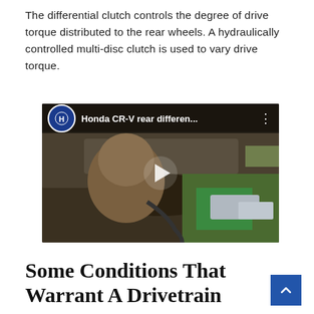The differential clutch controls the degree of drive torque distributed to the rear wheels. A hydraulically controlled multi-disc clutch is used to vary drive torque.
[Figure (screenshot): YouTube video thumbnail showing a mechanic working underneath a car, with Honda logo and title 'Honda CR-V rear differen...' and a play button overlay]
Some Conditions That Warrant A Drivetrain